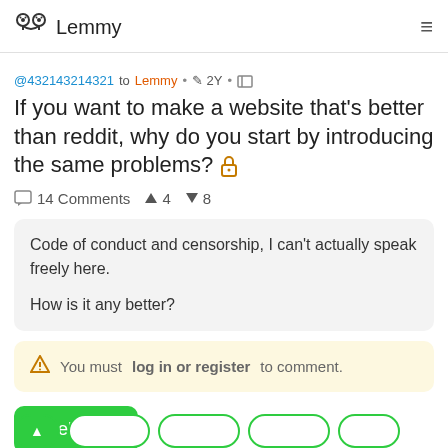Lemmy
@432143214321 to Lemmy • 2Y •
If you want to make a website that's better than reddit, why do you start by introducing the same problems? 🔒
14 Comments ↑ 4 ↓ 8
Code of conduct and censorship, I can't actually speak freely here.

How is it any better?
⚠ You must log in or register to comment.
Sidebar ⊞